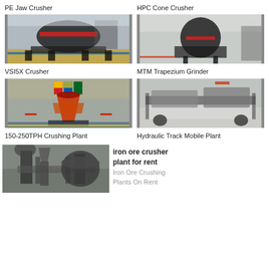PE Jaw Crusher
HPC Cone Crusher
[Figure (photo): PE Jaw Crusher machine in industrial factory setting]
[Figure (photo): HPC Cone Crusher machine in industrial factory setting]
VSI5X Crusher
MTM Trapezium Grinder
[Figure (photo): VSI5X Crusher machine with flags in industrial factory]
[Figure (photo): Hydraulic Track Mobile Plant machine in factory hall]
150-250TPH Crushing Plant
Hydraulic Track Mobile Plant
[Figure (photo): Iron ore crushing plant industrial machinery]
iron ore crusher plant for rent
Iron Ore Crushing Plants On Rent